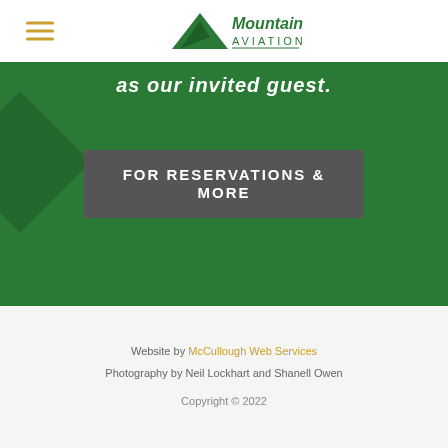Mountain West Aviation
as our invited guest.
FOR RESERVATIONS & MORE
Website by McCullough Web Services
Photography by Neil Lockhart and Shanell Owen
Copyright © 2022